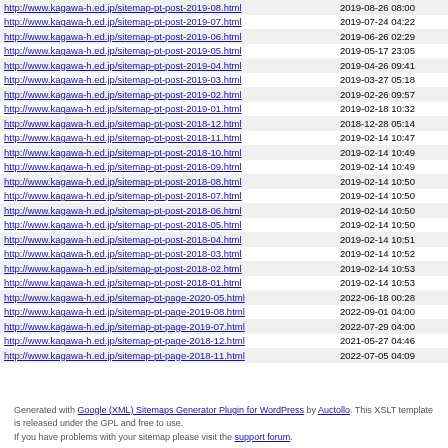| URL | Last Modified |
| --- | --- |
| http://www.kagawa-h.ed.jp/sitemap-pt-post-2019-08.html | 2019-08-26 08:00 |
| http://www.kagawa-h.ed.jp/sitemap-pt-post-2019-07.html | 2019-07-24 04:22 |
| http://www.kagawa-h.ed.jp/sitemap-pt-post-2019-06.html | 2019-06-26 02:29 |
| http://www.kagawa-h.ed.jp/sitemap-pt-post-2019-05.html | 2019-05-17 23:05 |
| http://www.kagawa-h.ed.jp/sitemap-pt-post-2019-04.html | 2019-04-26 09:41 |
| http://www.kagawa-h.ed.jp/sitemap-pt-post-2019-03.html | 2019-03-27 05:18 |
| http://www.kagawa-h.ed.jp/sitemap-pt-post-2019-02.html | 2019-02-26 09:57 |
| http://www.kagawa-h.ed.jp/sitemap-pt-post-2019-01.html | 2019-02-18 10:32 |
| http://www.kagawa-h.ed.jp/sitemap-pt-post-2018-12.html | 2018-12-28 05:14 |
| http://www.kagawa-h.ed.jp/sitemap-pt-post-2018-11.html | 2019-02-14 10:47 |
| http://www.kagawa-h.ed.jp/sitemap-pt-post-2018-10.html | 2019-02-14 10:49 |
| http://www.kagawa-h.ed.jp/sitemap-pt-post-2018-09.html | 2019-02-14 10:49 |
| http://www.kagawa-h.ed.jp/sitemap-pt-post-2018-08.html | 2019-02-14 10:50 |
| http://www.kagawa-h.ed.jp/sitemap-pt-post-2018-07.html | 2019-02-14 10:50 |
| http://www.kagawa-h.ed.jp/sitemap-pt-post-2018-06.html | 2019-02-14 10:50 |
| http://www.kagawa-h.ed.jp/sitemap-pt-post-2018-05.html | 2019-02-14 10:50 |
| http://www.kagawa-h.ed.jp/sitemap-pt-post-2018-04.html | 2019-02-14 10:51 |
| http://www.kagawa-h.ed.jp/sitemap-pt-post-2018-03.html | 2019-02-14 10:52 |
| http://www.kagawa-h.ed.jp/sitemap-pt-post-2018-02.html | 2019-02-14 10:53 |
| http://www.kagawa-h.ed.jp/sitemap-pt-post-2018-01.html | 2019-02-14 10:53 |
| http://www.kagawa-h.ed.jp/sitemap-pt-page-2020-05.html | 2022-06-18 00:28 |
| http://www.kagawa-h.ed.jp/sitemap-pt-page-2019-08.html | 2022-09-01 04:00 |
| http://www.kagawa-h.ed.jp/sitemap-pt-page-2019-07.html | 2022-07-29 04:00 |
| http://www.kagawa-h.ed.jp/sitemap-pt-page-2018-12.html | 2021-05-27 04:46 |
| http://www.kagawa-h.ed.jp/sitemap-pt-page-2018-11.html | 2022-07-05 04:09 |
Generated with Google (XML) Sitemaps Generator Plugin for WordPress by Auctollo. This XSLT template is released under the GPL and free to use. If you have problems with your sitemap please visit the support forum.